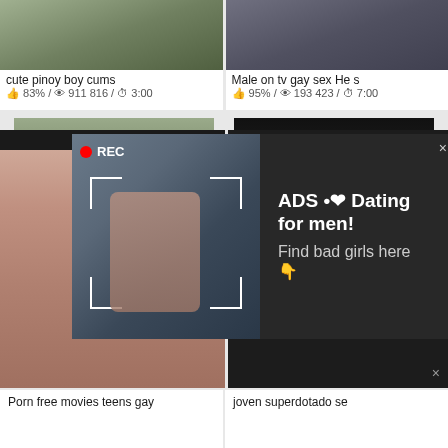cute pinoy boy cums
👍 83% / 👁 911 816 / ⏱ 3:00
Male on tv gay sex He s
👍 95% / 👁 193 423 / ⏱ 7:00
[Figure (photo): Video thumbnail showing two people, with a recording popup overlay showing a woman taking a selfie in mirror]
ADS •❤ Dating for men! Find bad girls here 👇
[Figure (photo): Adult content thumbnail with a woman]
WHAT DO YOU WANT?
WATCH
🔴 Online
Cumming, ass fucking, squirt or... • ADS
Porn free movies teens gay
joven superdotado se